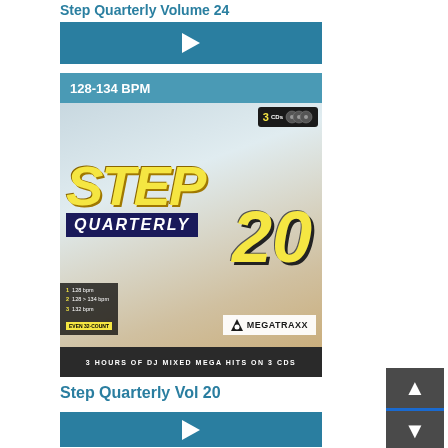Step Quarterly Volume 24
[Figure (screenshot): Teal play button bar]
[Figure (illustration): Album cover for Step Quarterly Vol 20 by Megatraxx — 3 CDs, 3 Hours of DJ Mixed Mega Hits. Shows fitness/step aerobics imagery with '128-134 BPM' banner, STEP QUARTERLY 20 logo text in yellow and dark blue, Megatraxx badge. Bottom text: 3 HOURS OF DJ MIXED MEGA HITS ON 3 CDs]
Step Quarterly Vol 20
[Figure (screenshot): Teal play button bar (second)]